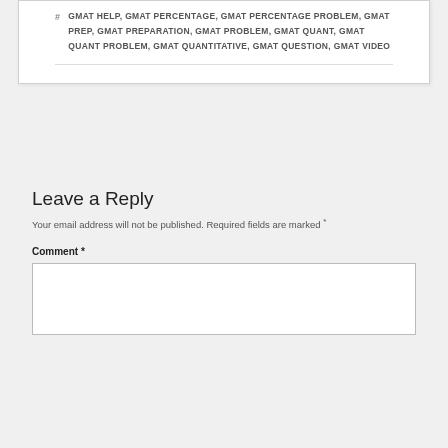# GMAT HELP, GMAT PERCENTAGE, GMAT PERCENTAGE PROBLEM, GMAT PREP, GMAT PREPARATION, GMAT PROBLEM, GMAT QUANT, GMAT QUANT PROBLEM, GMAT QUANTITATIVE, GMAT QUESTION, GMAT VIDEO
Leave a Reply
Your email address will not be published. Required fields are marked *
Comment *